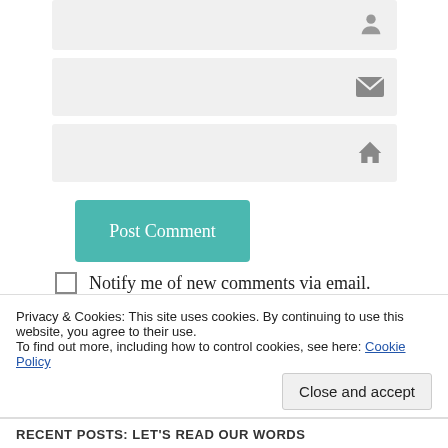[Figure (screenshot): Form input field with user icon (person silhouette) on right side, light gray background]
[Figure (screenshot): Form input field with email/envelope icon on right side, light gray background]
[Figure (screenshot): Form input field with home/house icon on right side, light gray background]
Post Comment
Notify me of new comments via email.
Notify me of new posts via email.
Privacy & Cookies: This site uses cookies. By continuing to use this website, you agree to their use.
To find out more, including how to control cookies, see here: Cookie Policy
Close and accept
RECENT POSTS: LET'S READ OUR WORDS